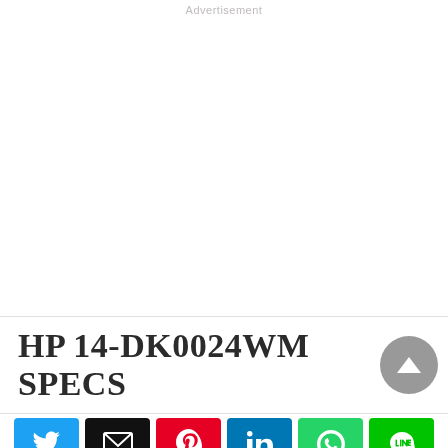Advertisement
HP 14-DK0024WM SPECS
[Figure (other): Social share bar with Twitter, Email, Pinterest, LinkedIn, WhatsApp, and LINE buttons]